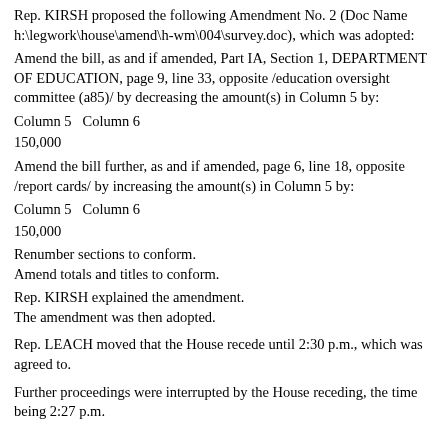Rep. KIRSH proposed the following Amendment No. 2 (Doc Name h:\legwork\house\amend\h-wm\004\survey.doc), which was adopted:
Amend the bill, as and if amended, Part IA, Section 1, DEPARTMENT OF EDUCATION, page 9, line 33, opposite /education oversight committee (a85)/ by decreasing the amount(s) in Column 5 by:
Column 5   Column 6
150,000
Amend the bill further, as and if amended, page 6, line 18, opposite /report cards/ by increasing the amount(s) in Column 5 by:
Column 5   Column 6
150,000
Renumber sections to conform.
Amend totals and titles to conform.
Rep. KIRSH explained the amendment.
The amendment was then adopted.
Rep. LEACH moved that the House recede until 2:30 p.m., which was agreed to.
Further proceedings were interrupted by the House receding, the time being 2:27 p.m.